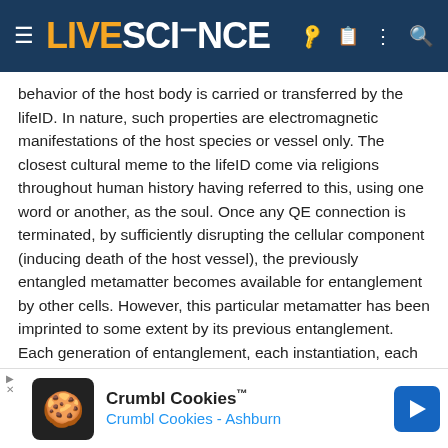LIVESCIENCE
behavior of the host body is carried or transferred by the lifeID. In nature, such properties are electromagnetic manifestations of the host species or vessel only. The closest cultural meme to the lifeID come via religions throughout human history having referred to this, using one word or another, as the soul. Once any QE connection is terminated, by sufficiently disrupting the cellular component (inducing death of the host vessel), the previously entangled metamatter becomes available for entanglement by other cells. However, this particular metamatter has been imprinted to some extent by its previous entanglement. Each generation of entanglement, each instantiation, each life, imprints information from both the host and QEF, to its entangled metamatter. The degree of this imprinting is yet to be determined.
This time-dependent, perishable imprinting of cellular state in metamatter becomes available to future cells that entangle this metamatter while simultaneously limiting its entanglement
[Figure (screenshot): Crumbl Cookies advertisement banner with cookie logo, 'Crumbl Cookies™' title, 'Crumbl Cookies - Ashburn' subtitle, and blue directional arrow icon]